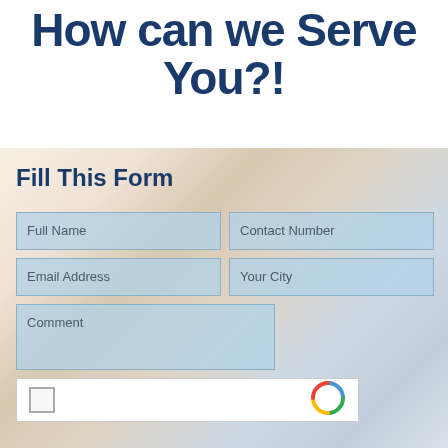How can we serve You?!
Fill This Form
Full Name
Contact Number
Email Address
Your City
Comment